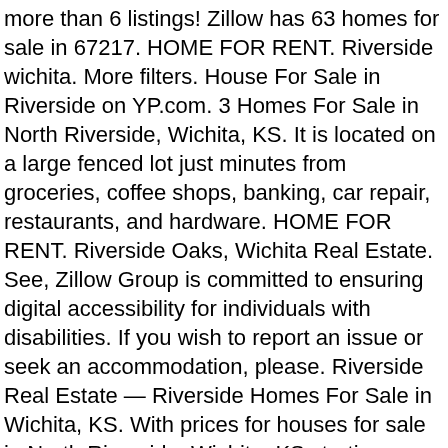more than 6 listings! Zillow has 63 homes for sale in 67217. HOME FOR RENT. Riverside wichita. More filters. House For Sale in Riverside on YP.com. 3 Homes For Sale in North Riverside, Wichita, KS. It is located on a large fenced lot just minutes from groceries, coffee shops, banking, car repair, restaurants, and hardware. HOME FOR RENT. Riverside Oaks, Wichita Real Estate. See, Zillow Group is committed to ensuring digital accessibility for individuals with disabilities. If you wish to report an issue or seek an accommodation, please. Riverside Real Estate — Riverside Homes For Sale in Wichita, KS. With prices for houses for sale in North Riverside, Wichita, KS starting as low as $105,500, we make the search for the perfect home easy by providing you with the right tools! Riverside is a neighborhood in Wichita, Kansas with a population of 2,846. See Riverside homes for sale in Wichita KS. Use our detailed filters to find the perfect place, then get in touch with the property manager. Get in touch with a Riverside real estate agent who can help you find the home of your dreams in Riverside. Homes for Sale; Wichita, KS; 8 Properties Found . Find riverside properties for rent at the best price . 1-5 of 5 properties for rent found. Looking for Riverside, Wichita, Sedgwick County, KS Single-Family Homes? Riverside, Wichita Homes For Sale & Real Estate,